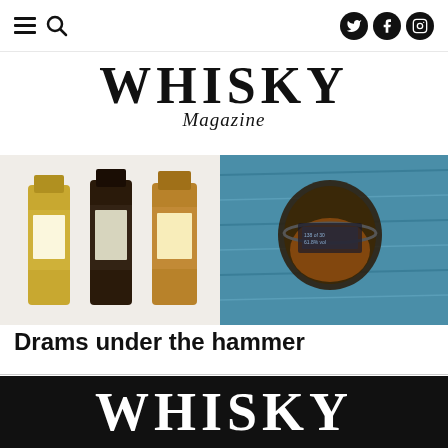Navigation menu, search, social icons (Twitter, Facebook, Instagram)
WHISKY Magazine
[Figure (photo): Whisky bottles and a whisky glass on a blue wooden surface]
Drams under the hammer
See more Collections stories
WHISKY